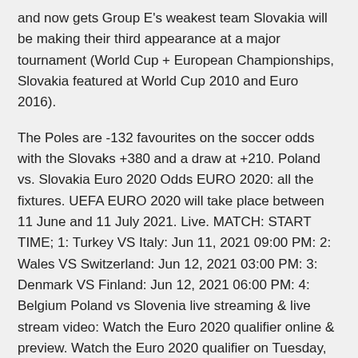and now gets Group E's weakest team Slovakia will be making their third appearance at a major tournament (World Cup + European Championships, Slovakia featured at World Cup 2010 and Euro 2016).
The Poles are -132 favourites on the soccer odds with the Slovaks +380 and a draw at +210. Poland vs. Slovakia Euro 2020 Odds EURO 2020: all the fixtures. UEFA EURO 2020 will take place between 11 June and 11 July 2021. Live. MATCH: START TIME; 1: Turkey VS Italy: Jun 11, 2021 09:00 PM: 2: Wales VS Switzerland: Jun 12, 2021 03:00 PM: 3: Denmark VS Finland: Jun 12, 2021 06:00 PM: 4: Belgium Poland vs Slovenia live streaming & live stream video: Watch the Euro 2020 qualifier online & preview. Watch the Euro 2020 qualifier on Tuesday, November 19, 2019.